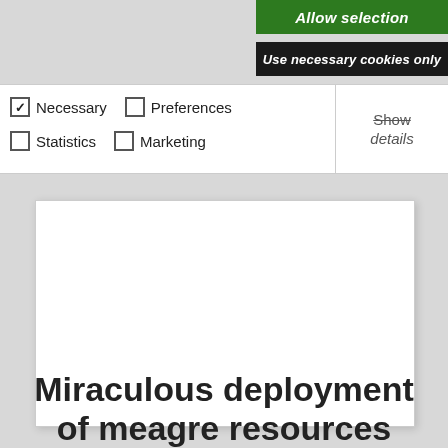[Figure (screenshot): Green 'Allow selection' button]
[Figure (screenshot): Dark 'Use necessary cookies only' button]
[Figure (screenshot): Cookie consent bar with checkboxes for Necessary (checked), Preferences, Statistics, Marketing, and a Show details link]
[Figure (screenshot): Large white content area box (empty)]
Miraculous deployment of meagre resources